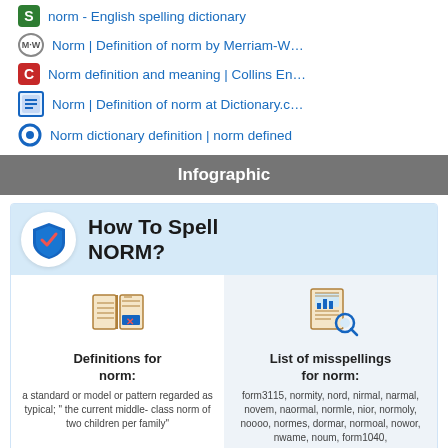norm - English spelling dictionary
Norm | Definition of norm by Merriam-W…
Norm definition and meaning | Collins En…
Norm | Definition of norm at Dictionary.c…
Norm dictionary definition | norm defined
Infographic
[Figure (infographic): Infographic titled 'How To Spell NORM?' with a shield icon, showing two columns: 'Definitions for norm' with text 'a standard or model or pattern regarded as typical; "the current middle-class norm of two children per family"' and 'List of misspellings for norm' with text 'form3115, normity, nord, nirmal, narmal, novem, naormal, normle, nior, normoly, noooo, normes, dormar, normoal, nowor, nwame, noum, form1040,']